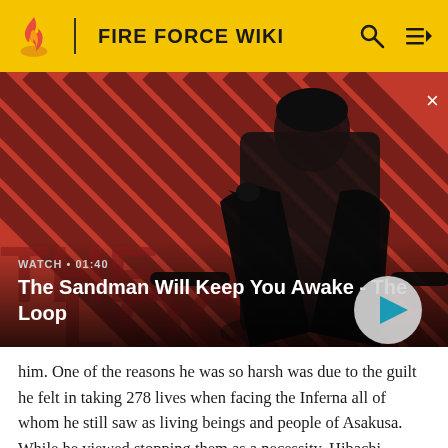FIRE FORCE WIKI
[Figure (screenshot): Video thumbnail showing a dark-clothed figure with a raven on shoulder against a red diagonal striped background. Title 'The Sandman Will Keep You Awake - The Loop' with WATCH • 01:40 label and play button.]
him. One of the reasons he was so harsh was due to the guilt he felt in taking 278 lives when facing the Inferna all of whom he still saw as living beings and people of Asakusa. While he viewed stopping them as a necessity, Hibachi conflicted with the ideals of the Holy